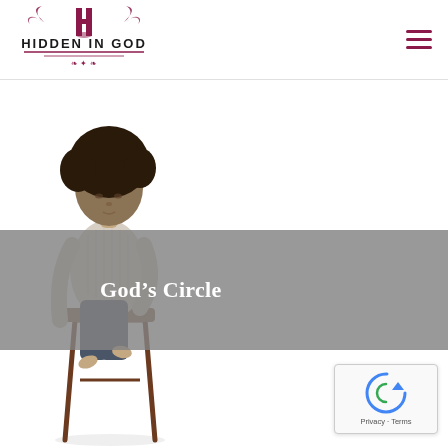HIDDEN IN GOD — logo and navigation
[Figure (photo): Woman with natural hair sitting on a wooden stool, looking downward, wearing a white knit sweater and jeans, monochrome/desaturated tones]
God’s Circle
[Figure (logo): reCAPTCHA badge with spinning arrow icon and Privacy/Terms text]